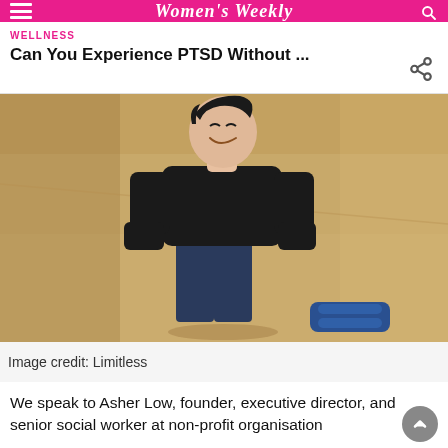Women's Weekly
WELLNESS
Can You Experience PTSD Without ...
[Figure (photo): A smiling young Asian man in a black sweater and dark jeans stands laughing in front of a tan/beige wall. Blue gym equipment (yoga blocks or similar) is visible at his right side on the ground. The setting appears to be an indoor or outdoor fitness/gym space.]
Image credit: Limitless
We speak to Asher Low, founder, executive director, and senior social worker at non-profit organisation